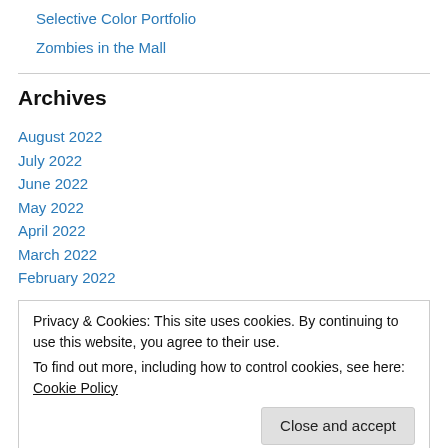Selective Color Portfolio
Zombies in the Mall
Archives
August 2022
July 2022
June 2022
May 2022
April 2022
March 2022
February 2022
Privacy & Cookies: This site uses cookies. By continuing to use this website, you agree to their use.
To find out more, including how to control cookies, see here: Cookie Policy
Close and accept
June 2021